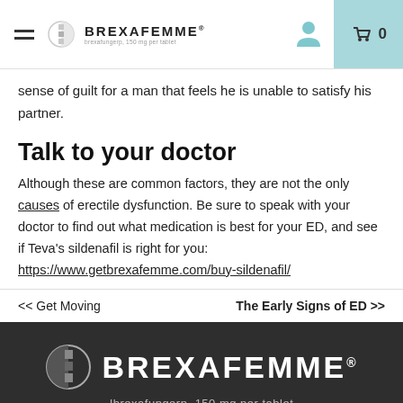BREXAFEMME brexafungerp, 150 mg per tablet
sense of guilt for a man that feels he is unable to satisfy his partner.
Talk to your doctor
Although these are common factors, they are not the only causes of erectile dysfunction. Be sure to speak with your doctor to find out what medication is best for your ED, and see if Teva’s sildenafil is right for you: https://www.getbrexafemme.com/buy-sildenafil/
<< Get Moving | The Early Signs of ED >>
[Figure (logo): BREXAFEMME logo with ibrexafungerp, 150 mg per tablet on dark background]